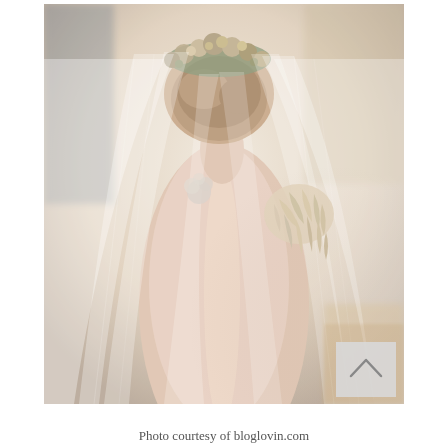[Figure (photo): Back view of a bride with a floral crown and flowing veil, wearing a low-back wedding dress with feathered shoulder detail. The photo has a soft, warm sepia-toned aesthetic.]
Photo courtesy of bloglovin.com